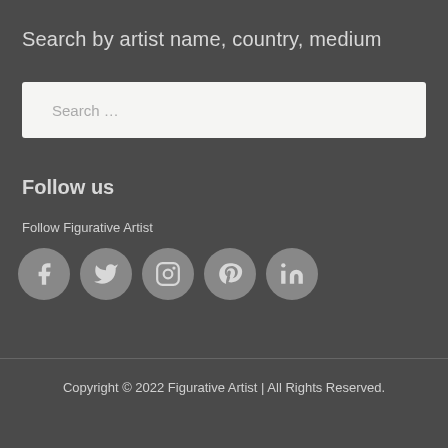Search by artist name, country, medium
[Figure (other): Search input box with placeholder text 'Search …']
Follow us
Follow Figurative Artist
[Figure (other): Social media icons: Facebook, Twitter, Instagram, Pinterest, LinkedIn]
Copyright © 2022 Figurative Artist | All Rights Reserved.